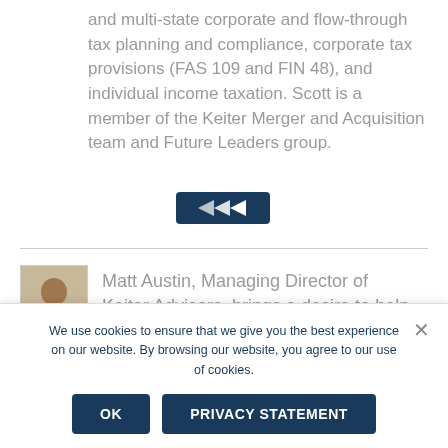and multi-state corporate and flow-through tax planning and compliance, corporate tax provisions (FAS 109 and FIN 48), and individual income taxation. Scott is a member of the Keiter Merger and Acquisition team and Future Leaders group.
[Figure (other): Dark navy arrow/forward button graphic]
[Figure (photo): Headshot photo of Matt Austin]
Matt Austin, Managing Director of Keiter Advisors, brings a desire to help
We use cookies to ensure that we give you the best experience on our website. By browsing our website, you agree to our use of cookies.